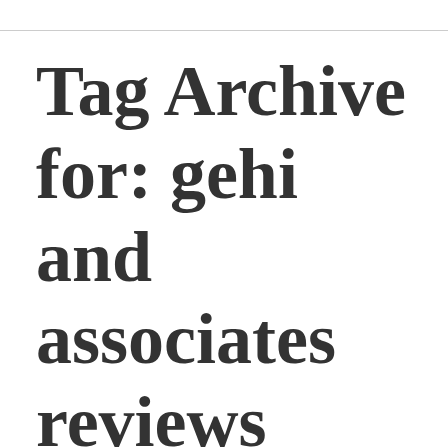Tag Archive for: gehi and associates reviews